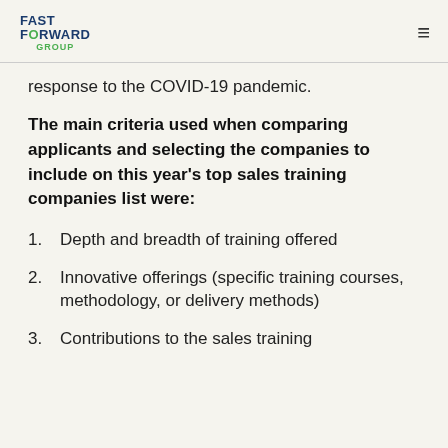FAST FORWARD GROUP
response to the COVID-19 pandemic.
The main criteria used when comparing applicants and selecting the companies to include on this year's top sales training companies list were:
Depth and breadth of training offered
Innovative offerings (specific training courses, methodology, or delivery methods)
Contributions to the sales training